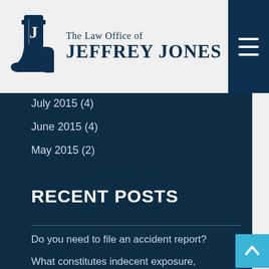[Figure (logo): The Law Office of Jeffrey Jones logo with cowboy boot icon]
July 2015 (4)
June 2015 (4)
May 2015 (2)
RECENT POSTS
Do you need to file an accident report?
What constitutes indecent exposure, and how is it punished?
Scary statistics about car crashes
The role of a CDFA